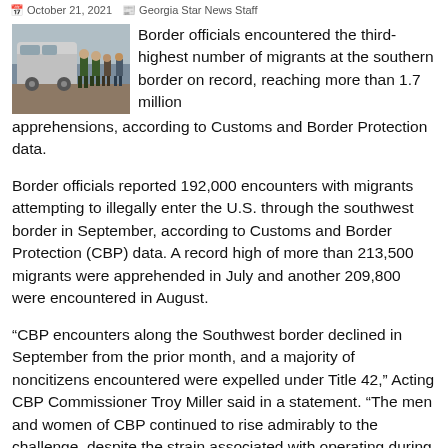October 21, 2021   Georgia Star News Staff
[Figure (photo): Border patrol officers standing near a vehicle with migrants at the southern border]
Border officials encountered the third-highest number of migrants at the southern border on record, reaching more than 1.7 million apprehensions, according to Customs and Border Protection data.
Border officials reported 192,000 encounters with migrants attempting to illegally enter the U.S. through the southwest border in September, according to Customs and Border Protection (CBP) data. A record high of more than 213,500 migrants were apprehended in July and another 209,800 were encountered in August.
“CBP encounters along the Southwest border declined in September from the prior month, and a majority of noncitizens encountered were expelled under Title 42,” Acting CBP Commissioner Troy Miller said in a statement. “The men and women of CBP continued to rise admirably to the challenge, despite the strain associated with operating during a global